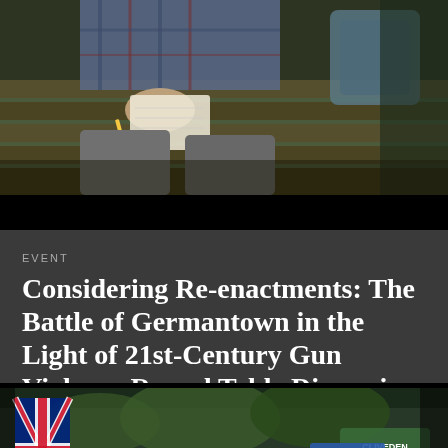[Figure (photo): Person sitting on wooden bench holding a notebook and pencil, wearing plaid shirt and gray pants, with a backpack visible in the background]
EVENT
Considering Re-enactments: The Battle of Germantown in the Light of 21st-Century Gun Violence Round Table Discussion
[Figure (photo): Outdoor scene with a British flag on the left, green and blue signs reading 'CLIVEDEN' and 'Clivedon' with trees in the background]